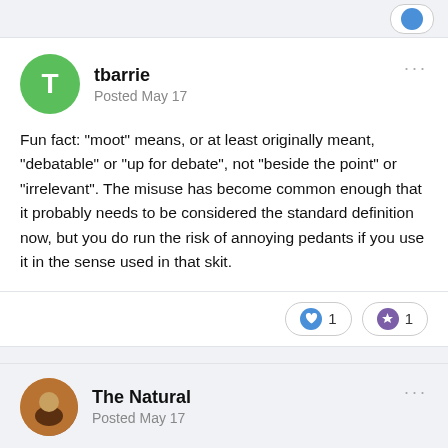tbarrie
Posted May 17
Fun fact: "moot" means, or at least originally meant, "debatable" or "up for debate", not "beside the point" or "irrelevant". The misuse has become common enough that it probably needs to be considered the standard definition now, but you do run the risk of annoying pedants if you use it in the sense used in that skit.
The Natural
Posted May 17